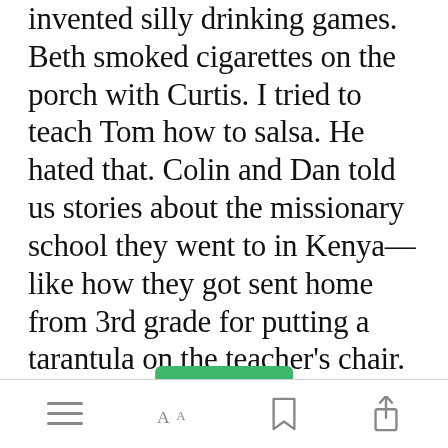invented silly drinking games. Beth smoked cigarettes on the porch with Curtis. I tried to teach Tom how to salsa. He hated that. Colin and Dan told us stories about the missionary school they went to in Kenya—like how they got sent home from 3rd grade for putting a tarantula on the teacher's chair. Nina, who forgot to eat again, threw up in the bathroom. That's pretty much it.
[Figure (screenshot): Green 'Open in app' button overlay]
Bottom navigation bar with menu, font, bookmark, and share icons